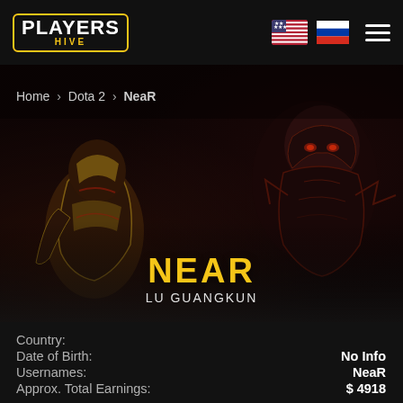PLAYERS HIVE
Home > Dota 2 > NeaR
[Figure (screenshot): Dota 2 game character artwork background — armored warrior on left and dark creature on right, dark reddish-brown tones]
NEAR
LU GUANGKUN
| Field | Value |
| --- | --- |
| Country: |  |
| Date of Birth: | No Info |
| Usernames: | NeaR |
| Approx. Total Earnings: | $ 4918 |